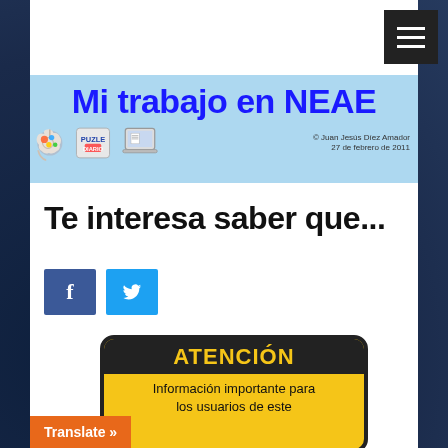[Figure (other): Hamburger menu button (dark square with three white horizontal lines)]
[Figure (illustration): Banner header for 'Mi trabajo en NEAE' blog with colorful brain icon, PUZLE DIARIO puzzle icon, laptop icon, and copyright credit to Juan Jesús Díez Amador, 27 de febrero de 2011]
Te interesa saber que...
[Figure (other): Social media share buttons: Facebook (blue, letter f) and Twitter (light blue, bird icon)]
[Figure (infographic): Yellow attention sign with black border and black header bar reading ATENCIÓN in yellow, body text reads: Información importante para los usuarios de este]
Translate »